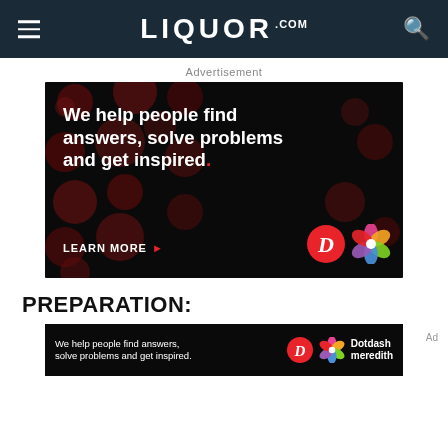LIQUOR.COM
Advertisement
[Figure (infographic): Dotdash Meredith advertisement on black background with dark red dot pattern. Text: 'We help people find answers, solve problems and get inspired.' with LEARN MORE button and D/Dotdash Meredith logos.]
PREPARATION:
[Figure (infographic): Small bottom banner ad: 'We help people find answers, solve problems and get inspired.' with Dotdash Meredith branding logos.]